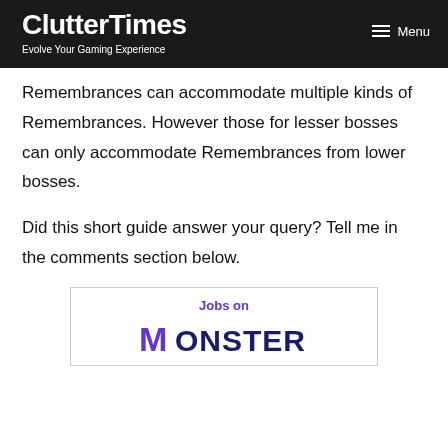ClutterTimes — Evolve Your Gaming Experience
Remembrances can accommodate multiple kinds of Remembrances. However those for lesser bosses can only accommodate Remembrances from lower bosses.
Did this short guide answer your query? Tell me in the comments section below.
[Figure (other): Jobs on Monster advertisement banner with Monster logo in purple and dark blue text]